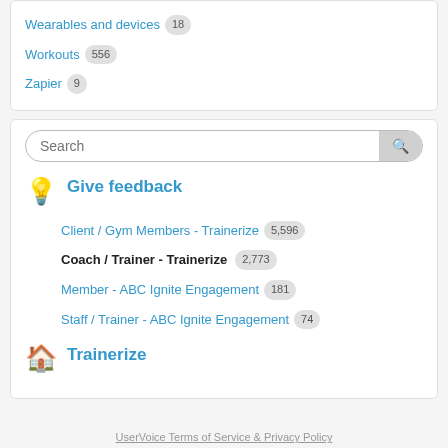Wearables and devices 18
Workouts 556
Zapier 9
Search
Give feedback
Client / Gym Members - Trainerize 5,596
Coach / Trainer - Trainerize 2,773
Member - ABC Ignite Engagement 181
Staff / Trainer - ABC Ignite Engagement 74
Trainerize
UserVoice Terms of Service & Privacy Policy